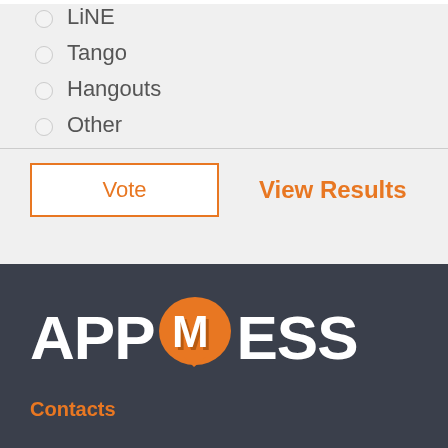LINE
Tango
Hangouts
Other
Vote
View Results
[Figure (logo): AppMess logo with orange speech bubble containing letter M, white text APP and ESS on dark background]
Contacts